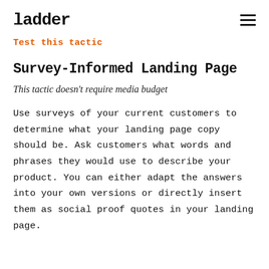ladder
Test this tactic
Survey-Informed Landing Page
This tactic doesn't require media budget
Use surveys of your current customers to determine what your landing page copy should be. Ask customers what words and phrases they would use to describe your product. You can either adapt the answers into your own versions or directly insert them as social proof quotes in your landing page.